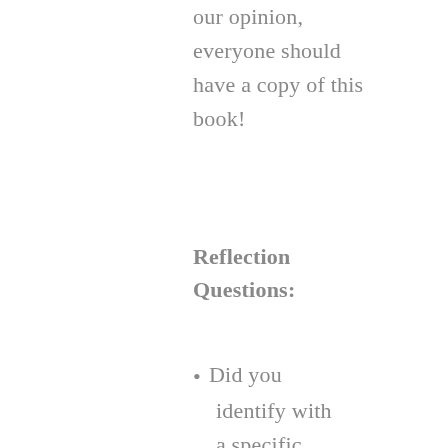our opinion, everyone should have a copy of this book!
Reflection Questions:
Did you identify with a specific